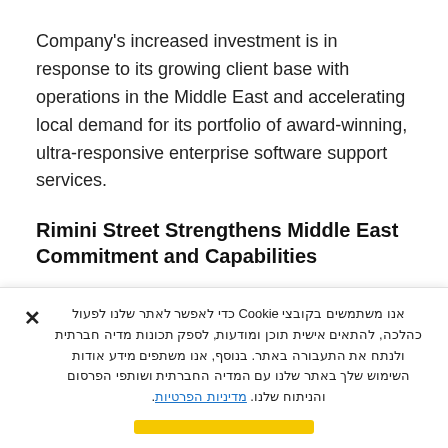Company's increased investment is in response to its growing client base with operations in the Middle East and accelerating local demand for its portfolio of award-winning, ultra-responsive enterprise software support services.
Rimini Street Strengthens Middle East Commitment and Capabilities
Rimini Street has been present in the Middle East for over five years supporting nearly 100 organizations with operations in the region, including clients in the Gulf and Saudi Arabia. Rimini Street has a local office and...
אנו משתמשים בקובצי Cookie כדי לאפשר לאתר שלנו לפעול כהלכה, להתאים אישית תוכן ומודעות, לספק תכונות מדיה חברתית ולנתח את התעבורה באתר. בנוסף, אנו משתפים מידע אודות השימוש שלך באתר שלנו עם המדיה החברתית ושותפי הפרסום והניתוח שלנו. מדיניות הפרטיות